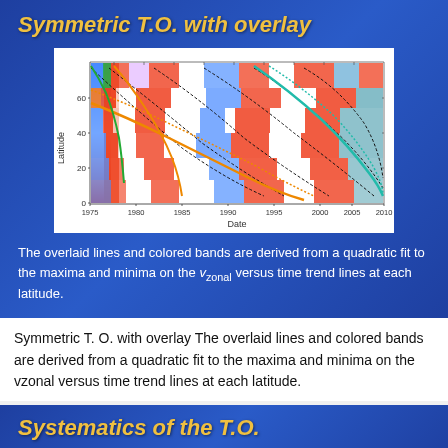Symmetric T.O. with overlay
[Figure (continuous-plot): Time-latitude diagram showing colored bands (red, blue, white, orange, teal, green) representing zonal velocity patterns from 1975 to 2010. Y-axis is Latitude (0-60), X-axis is Date. Overlaid curved lines (black, orange, teal) show quadratic fits to maxima and minima.]
The overlaid lines and colored bands are derived from a quadratic fit to the maxima and minima on the v_zonal versus time trend lines at each latitude.
Symmetric T. O. with overlay The overlaid lines and colored bands are derived from a quadratic fit to the maxima and minima on the vzonal versus time trend lines at each latitude.
Systematics of the T.O.